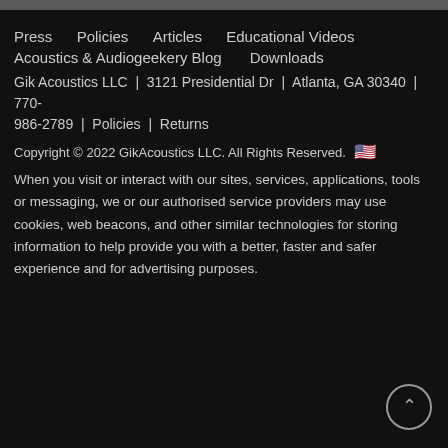Press   Policies   Articles   Educational Videos
Acoustics & Audiogeekery Blog    Downloads
Gik Acoustics LLC  |  3121 Presidential Dr  |  Atlanta, GA 30340  |  770-986-2789  |  Policies  |  Returns
Copyright © 2022 GikAcoustics LLC. All Rights Reserved.  🇺🇸
When you visit or interact with our sites, services, applications, tools or messaging, we or our authorised service providers may use cookies, web beacons, and other similar technologies for storing information to help provide you with a better, faster and safer experience and for advertising purposes.